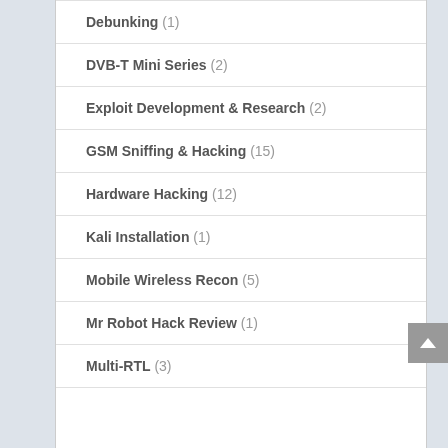Debunking (1)
DVB-T Mini Series (2)
Exploit Development & Research (2)
GSM Sniffing & Hacking (15)
Hardware Hacking (12)
Kali Installation (1)
Mobile Wireless Recon (5)
Mr Robot Hack Review (1)
Multi-RTL (3)